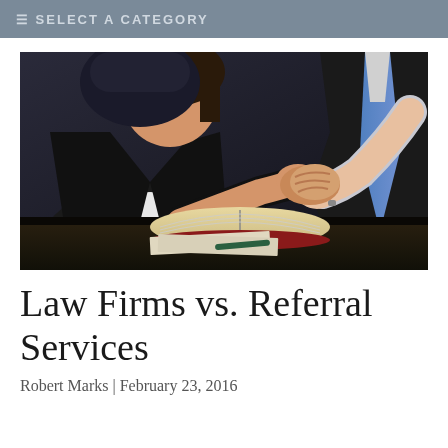☰ SELECT A CATEGORY
[Figure (photo): Two people in business attire shaking hands over a desk with an open law book and documents]
Law Firms vs. Referral Services
Robert Marks | February 23, 2016